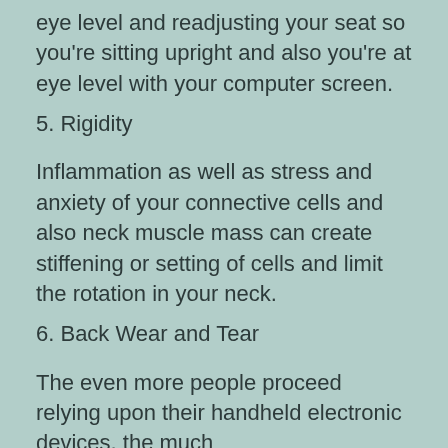eye level and readjusting your seat so you're sitting upright and also you're at eye level with your computer screen.
5. Rigidity
Inflammation as well as stress and anxiety of your connective cells and also neck muscle mass can create stiffening or setting of cells and limit the rotation in your neck.
6. Back Wear and Tear
The even more people proceed relying upon their handheld electronic devices, the much